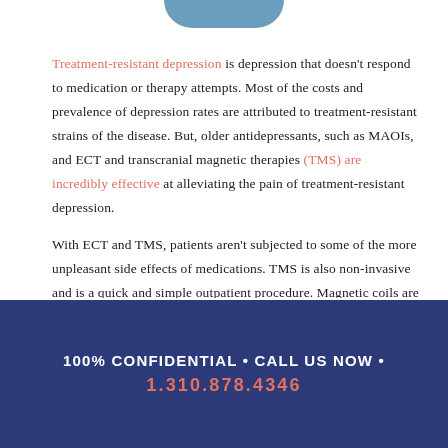[Figure (illustration): Partial teal/blue rounded shape at top center, likely a logo or decorative header element]
Treatment-resistant depression is depression that doesn't respond to medication or therapy attempts. Most of the costs and prevalence of depression rates are attributed to treatment-resistant strains of the disease. But, older antidepressants, such as MAOIs, and ECT and transcranial magnetic therapies (TMS) are incredibly effective at alleviating the pain of treatment-resistant depression.

With ECT and TMS, patients aren't subjected to some of the more unpleasant side effects of medications. TMS is also non-invasive and is a quick and simple outpatient procedure. Magnetic coils are placed onto the patient's forehead, where electromagnetic pulses are aimed at areas of the brain.
100% CONFIDENTIAL • CALL US NOW • 1.310.878.4346